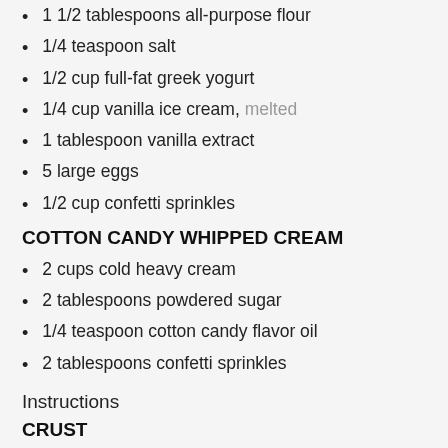1 1/2 tablespoons all-purpose flour
1/4 teaspoon salt
1/2 cup full-fat greek yogurt
1/4 cup vanilla ice cream, melted
1 tablespoon vanilla extract
5 large eggs
1/2 cup confetti sprinkles
COTTON CANDY WHIPPED CREAM
2 cups cold heavy cream
2 tablespoons powdered sugar
1/4 teaspoon cotton candy flavor oil
2 tablespoons confetti sprinkles
Instructions
CRUST
Preheat the oven to 350 degrees F. Fill a rimmed